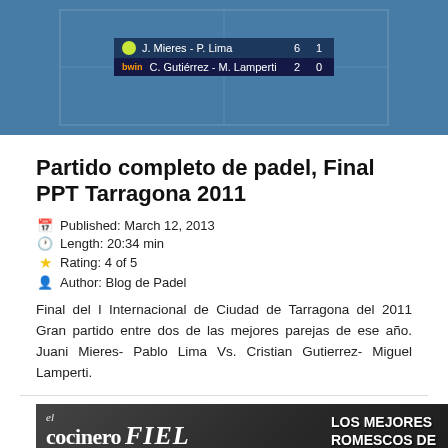[Figure (screenshot): Video screenshot of padel match with scoreboard showing J. Mieres - P. Lima 6 1 vs C. Gutierrez - M. Lamperti 2 0]
Partido completo de padel, Final PPT Tarragona 2011
Published: March 12, 2013
Length: 20:34 min
Rating: 4 of 5
Author: Blog de Padel
Final del I Internacional de Ciudad de Tarragona del 2011 Gran partido entre dos de las mejores parejas de ese año. Juani Mieres- Pablo Lima Vs. Cristian Gutierrez- Miguel Lamperti.
[Figure (screenshot): Video thumbnail for El Cocinero Fiel - Los Mejores Romescos de Tarragona with YouTube play button]